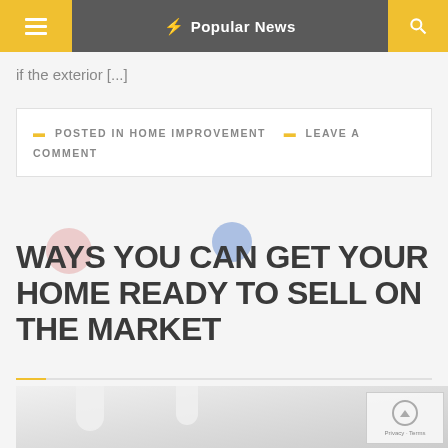Popular News
if the exterior [...]
POSTED IN HOME IMPROVEMENT  LEAVE A COMMENT
WAYS YOU CAN GET YOUR HOME READY TO SELL ON THE MARKET
[Figure (photo): Interior home photo showing white ceiling with pendant light fixtures, bright clean room]